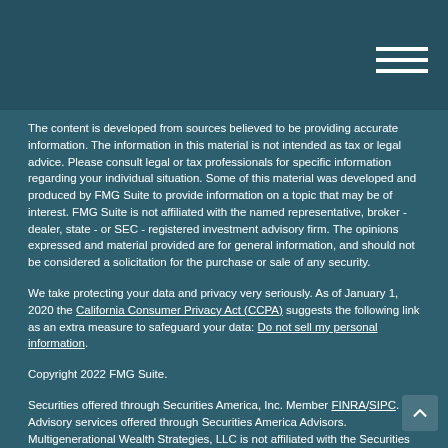The content is developed from sources believed to be providing accurate information. The information in this material is not intended as tax or legal advice. Please consult legal or tax professionals for specific information regarding your individual situation. Some of this material was developed and produced by FMG Suite to provide information on a topic that may be of interest. FMG Suite is not affiliated with the named representative, broker - dealer, state - or SEC - registered investment advisory firm. The opinions expressed and material provided are for general information, and should not be considered a solicitation for the purchase or sale of any security.
We take protecting your data and privacy very seriously. As of January 1, 2020 the California Consumer Privacy Act (CCPA) suggests the following link as an extra measure to safeguard your data: Do not sell my personal information.
Copyright 2022 FMG Suite.
Securities offered through Securities America, Inc. Member FINRA/SIPC. Advisory services offered through Securities America Advisors. Multigenerational Wealth Strategies, LLC is not affiliated with the Securities America companies.
This website is not an offer to buy or a solicitation to sell securities.
This site is published for residents of the United States and is for informational purposes only and does not constitute an offer to sell or a solicitation of an offer to buy any security or product that may be referenced herein. Persons mentioned on